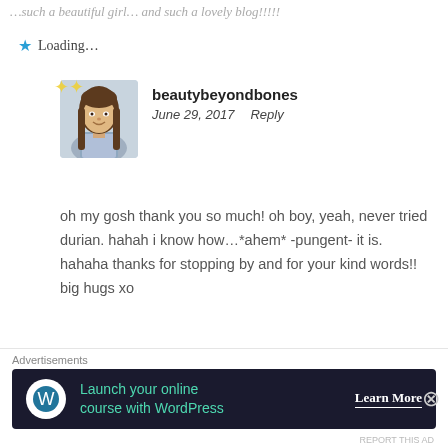...such a beautiful girl... and such a lovely blog!!!!!
⭐ Loading...
[Figure (photo): Avatar photo of beautybeyondbones - a woman with long brown hair smiling, small sparkle icons overlaid]
beautybeyondbones
June 29, 2017   Reply
oh my gosh thank you so much! oh boy, yeah, never tried durian. hahah i know how…*ahem* -pungent- it is. hahaha thanks for stopping by and for your kind words!! big hugs xo
⭐ Loading...
Advertisements
[Figure (infographic): Dark banner advertisement: 'Launch your online course with WordPress' with Learn More button and WordPress icon]